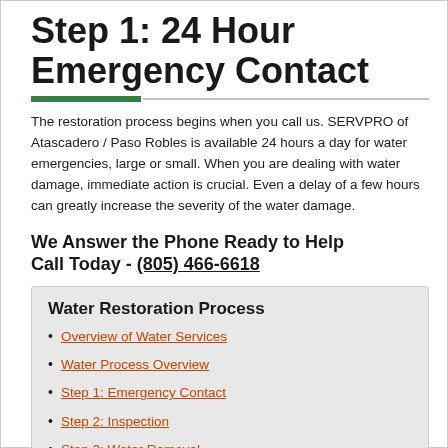Step 1: 24 Hour Emergency Contact
The restoration process begins when you call us. SERVPRO of Atascadero / Paso Robles is available 24 hours a day for water emergencies, large or small. When you are dealing with water damage, immediate action is crucial. Even a delay of a few hours can greatly increase the severity of the water damage.
We Answer the Phone Ready to Help Call Today - (805) 466-6618
Water Restoration Process
Overview of Water Services
Water Process Overview
Step 1: Emergency Contact
Step 2: Inspection
Step 3: Water Removal
Step 4: Drying